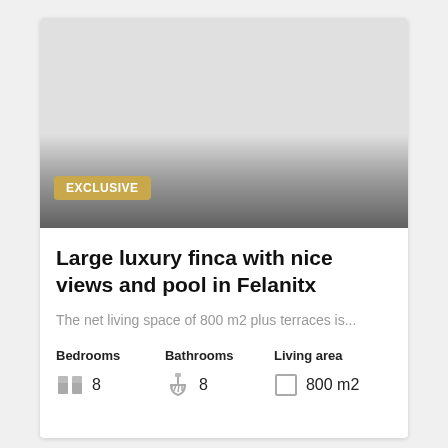[Figure (photo): Property listing card image area with gradient from light grey to dark grey at bottom, with EXCLUSIVE badge overlay]
Large luxury finca with nice views and pool in Felanitx
The net living space of 800 m2 plus terraces is...
| Bedrooms | Bathrooms | Living area |
| --- | --- | --- |
| 8 | 8 | 800 m2 |